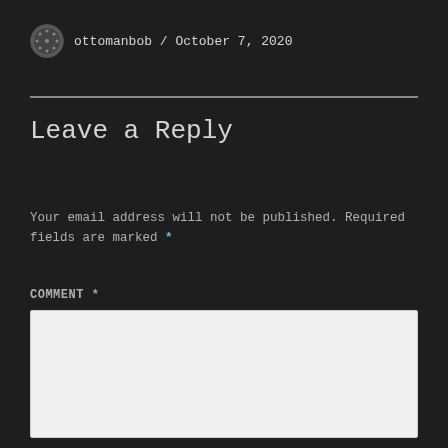ottomanbob / October 7, 2020
Leave a Reply
Your email address will not be published. Required fields are marked *
COMMENT *